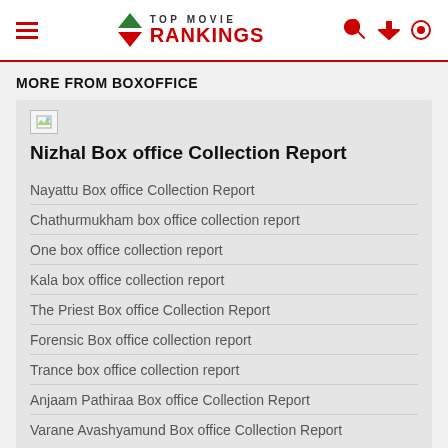TOP MOVIE RANKINGS
MORE FROM BOXOFFICE
Nizhal Box office Collection Report
Nayattu Box office Collection Report
Chathurmukham box office collection report
One box office collection report
Kala box office collection report
The Priest Box office Collection Report
Forensic Box office collection report
Trance box office collection report
Anjaam Pathiraa Box office Collection Report
Varane Avashyamund Box office Collection Report